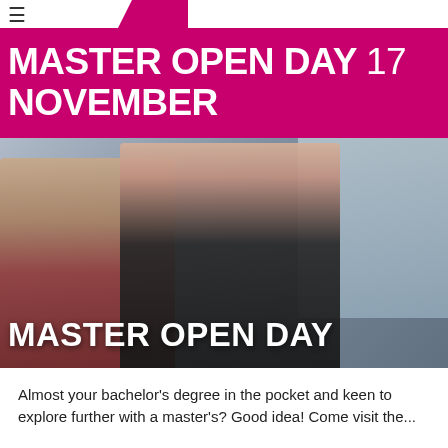≡
MASTER OPEN DAY 17 NOVEMBER
[Figure (photo): Two students in an indoor setting; a man with glasses wearing a plaid shirt on the left, and a woman with dark hair wearing a black sleeveless top on the right, appearing to be in conversation. The text 'MASTER OPEN DAY' is overlaid in bold white text at the bottom of the photo.]
Almost your bachelor's degree in the pocket and keen to explore further with a master's? Good idea! Come visit the...